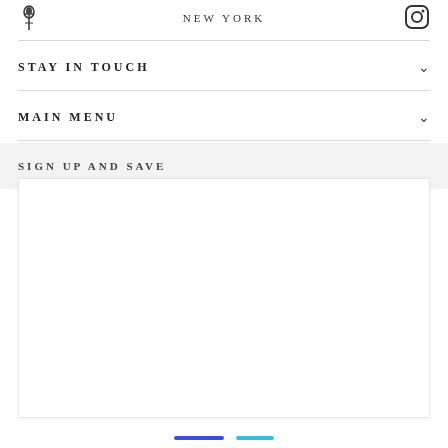NEW YORK
STAY IN TOUCH
MAIN MENU
SIGN UP AND SAVE